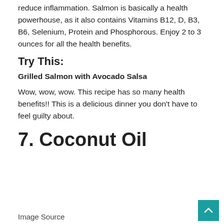reduce inflammation. Salmon is basically a health powerhouse, as it also contains Vitamins B12, D, B3, B6, Selenium, Protein and Phosphorous. Enjoy 2 to 3 ounces for all the health benefits.
Try This:
Grilled Salmon with Avocado Salsa
Wow, wow, wow. This recipe has so many health benefits!! This is a delicious dinner you don't have to feel guilty about.
7. Coconut Oil
Image Source